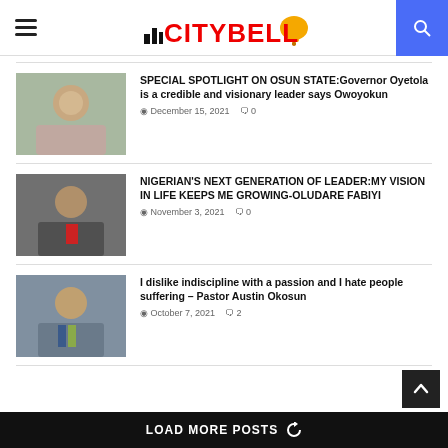CITYBELL
SPECIAL SPOTLIGHT ON OSUN STATE:Governor Oyetola is a credible and visionary leader says Owoyokun
December 15, 2021  0
NIGERIAN'S NEXT GENERATION OF LEADER:MY VISION IN LIFE KEEPS ME GROWING-OLUDARE FABIYI
November 3, 2021  0
I dislike indiscipline with a passion and I hate people suffering – Pastor Austin Okosun
October 7, 2021  2
LOAD MORE POSTS